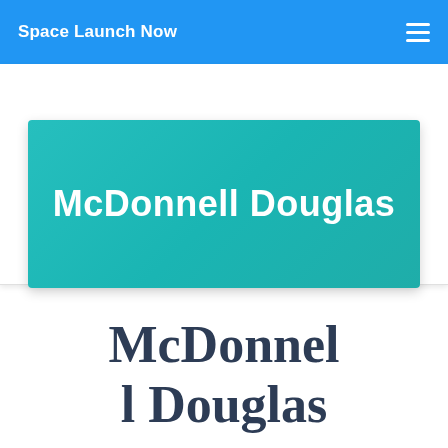Space Launch Now
[Figure (illustration): Teal/turquoise gradient banner card with white bold text reading 'McDonnell Douglas', displayed on a white background with drop shadow]
McDonnell Douglas